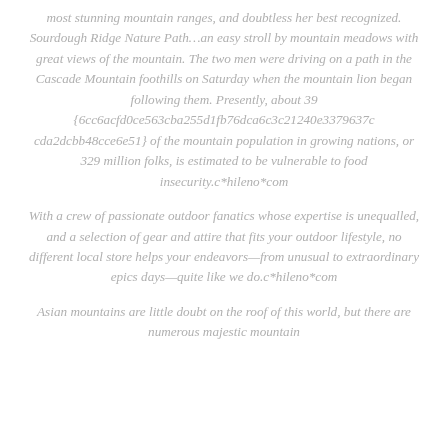most stunning mountain ranges, and doubtless her best recognized. Sourdough Ridge Nature Path…an easy stroll by mountain meadows with great views of the mountain. The two men were driving on a path in the Cascade Mountain foothills on Saturday when the mountain lion began following them. Presently, about 39 {6cc6acfd0ce563cba255d1fb76dca6c3c21240e3379637c cda2dcbb48cce6e51} of the mountain population in growing nations, or 329 million folks, is estimated to be vulnerable to food insecurity.c*hileno*com
With a crew of passionate outdoor fanatics whose expertise is unequalled, and a selection of gear and attire that fits your outdoor lifestyle, no different local store helps your endeavors—from unusual to extraordinary epics days—quite like we do.c*hileno*com
Asian mountains are little doubt on the roof of this world, but there are numerous majestic mountain